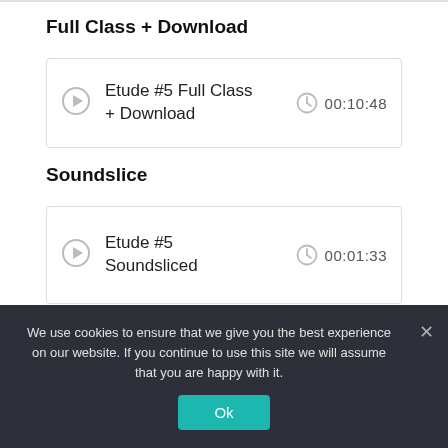Full Class + Download
Etude #5 Full Class + Download  00:10:48
Soundslice
Etude #5 Soundsliced  00:01:33
We use cookies to ensure that we give you the best experience on our website. If you continue to use this site we will assume that you are happy with it.